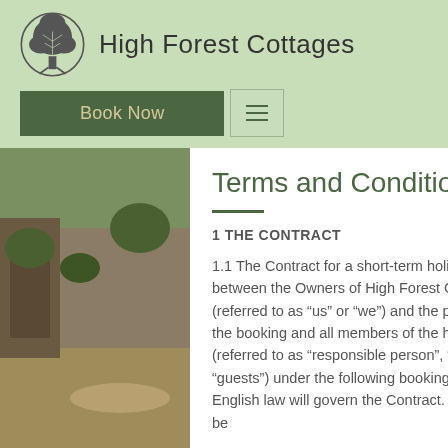High Forest Cottages
Terms and Conditions
1 THE CONTRACT
1.1 The Contract for a short-term holiday rental will be between the Owners of High Forest Cottages (referred to as “us” or “we”) and the person making the booking and all members of the holiday party (referred to as “responsible person”, “you”, “your”, “guests”) under the following booking conditions. English law will govern the Contract. The Contract will be